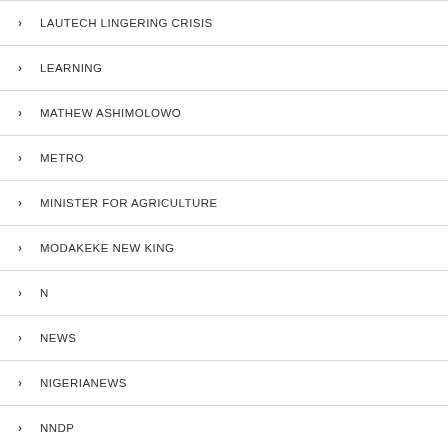LAUTECH LINGERING CRISIS
LEARNING
MATHEW ASHIMOLOWO
METRO
MINISTER FOR AGRICULTURE
MODAKEKE NEW KING
N
NEWS
NIGERIANEWS
NNDP
NYSC
ODDITIES
OGBENI RAUF AREGBESOLA